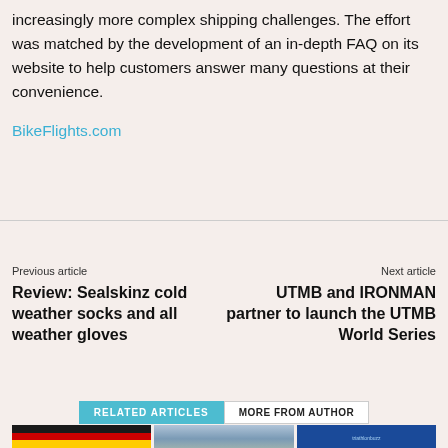increasingly more complex shipping challenges. The effort was matched by the development of an in-depth FAQ on its website to help customers answer many questions at their convenience.
BikeFlights.com
Previous article
Review: Sealskinz cold weather socks and all weather gloves
Next article
UTMB and IRONMAN partner to launch the UTMB World Series
RELATED ARTICLES
MORE FROM AUTHOR
[Figure (photo): Thumbnail image with German flag]
[Figure (photo): Thumbnail image of mountain landscape]
[Figure (photo): Thumbnail image with blue banner and text]